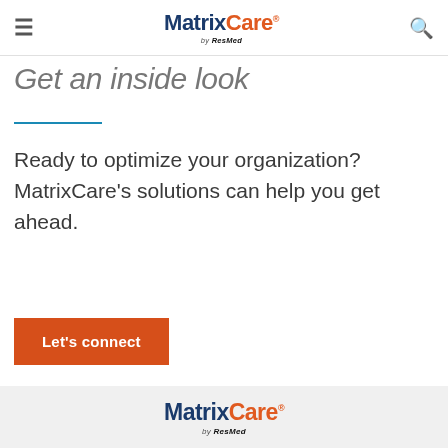MatrixCare by ResMed
Get an inside look
Ready to optimize your organization? MatrixCare's solutions can help you get ahead.
Let's connect
MatrixCare by ResMed